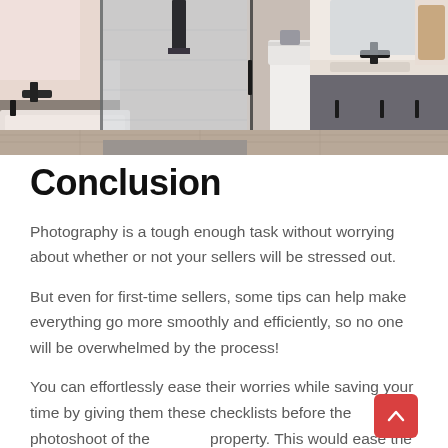[Figure (photo): Photograph of a modern bathroom interior showing a glass shower enclosure, dual vanity with dark gray cabinets and light countertop, wood-look flooring, and a toilet in the background.]
Conclusion
Photography is a tough enough task without worrying about whether or not your sellers will be stressed out.
But even for first-time sellers, some tips can help make everything go more smoothly and efficiently, so no one will be overwhelmed by the process!
You can effortlessly ease their worries while saving your time by giving them these checklists before the photoshoot of the property. This would ease the whole process for buyers, sellers